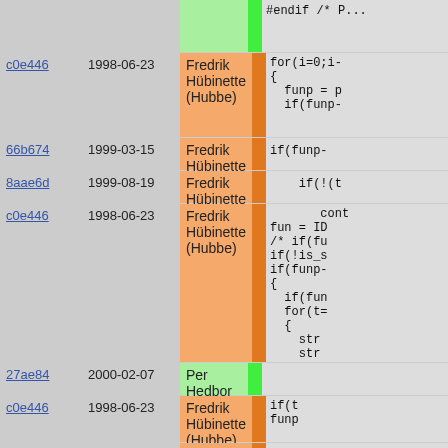| Commit | Date | Author |  | Code |
| --- | --- | --- | --- | --- |
|  |  |  |  | #endif /* P... |
| c0e446 | 1998-06-23 | Fredrik Hübinette (Hubbe) |  | for(i=0;i-
{
  funp = p
  if(funp- |
| 66b674 | 1999-03-15 | Fredrik Hübinette (Hubbe) |  | if(funp- |
| 8aae6d | 1999-08-19 | Fredrik Hübinette (Hubbe) |  | if(!(t |
| c0e446 | 1998-06-23 | Fredrik Hübinette (Hubbe) |  | cont
fun = ID
/* if(fu
if(!is_s
if(funp-
{
  if(fun
  for(t=
  {
    str
    str |
| 27ae84 | 2000-02-07 | Per Hedbor |  |  |
| c0e446 | 1998-06-23 | Fredrik Hübinette (Hubbe) |  | if(t
funp |
| 66b674 | 1999-03-15 | Fredrik Hübinette (Hubbe) |  | if(t |
| 8aae6d | 1999-08-19 | Fredrik Hübinette (Hubbe) |  | if(t |